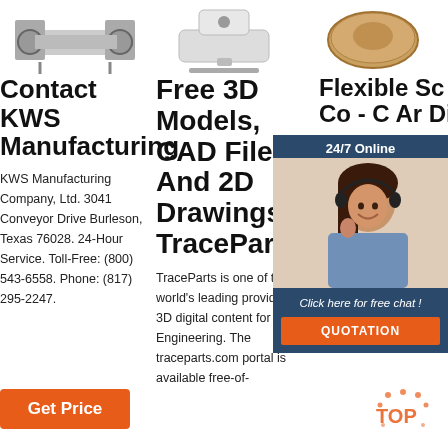[Figure (photo): Three product images at top: conveyor/machine part, sewing machine, and round disc]
Contact KWS Manufacturing
KWS Manufacturing Company, Ltd. 3041 Conveyor Drive Burleson, Texas 76028. 24-Hour Service. Toll-Free: (800) 543-6558. Phone: (817) 295-2247.
Free 3D Models, CAD Files And 2D Drawings - TraceParts
TraceParts is one of the world's leading providers of 3D digital content for Engineering. The traceparts.com portal is available free-of-
Flexible Sc Co - C Ar Di
Flex conv in any direction – from horizontal to vertical, routed around fixed obstacles and equipment, and from
[Figure (photo): 24/7 Online chat widget with agent photo and QUOTATION button]